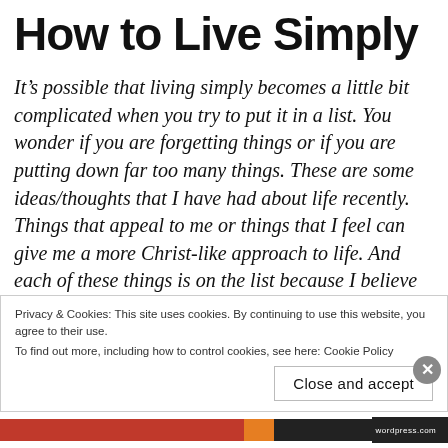How to Live Simply
It’s possible that living simply becomes a little bit complicated when you try to put it in a list. You wonder if you are forgetting things or if you are putting down far too many things. These are some ideas/thoughts that I have had about life recently. Things that appeal to me or things that I feel can give me a more Christ-like approach to life. And each of these things is on the list because I believe that it is valuable and something to strive for. Not because I have accomplished it. In fact, some of these things go
Privacy & Cookies: This site uses cookies. By continuing to use this website, you agree to their use.
To find out more, including how to control cookies, see here: Cookie Policy
Close and accept